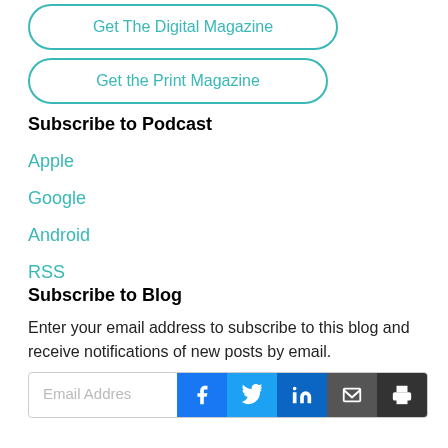Get The Digital Magazine
Get the Print Magazine
Subscribe to Podcast
Apple
Google
Android
RSS
Subscribe to Blog
Enter your email address to subscribe to this blog and receive notifications of new posts by email.
[Figure (other): Email address input field with social sharing buttons (Facebook, Twitter, LinkedIn, Mail, Print)]